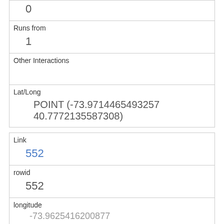| 0 |
| Runs from | 1 |
| Other Interactions |  |
| Lat/Long | POINT (-73.9714465493257 40.7772135587308) |
| Link | 552 |
| rowid | 552 |
| longitude | -73.9625416200877 |
| latitude | 40.7811302397912 |
| Unique Squirrel ID | 21H-AM-1017-02 |
| Hectare | 21H |
| Shift |  |